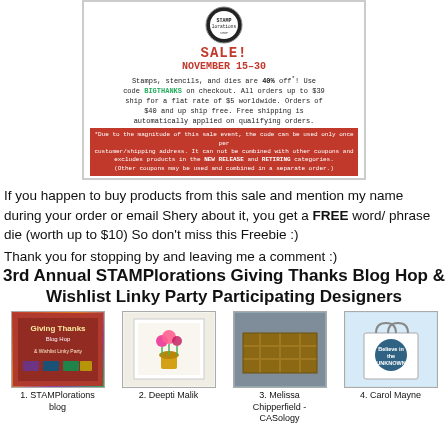[Figure (illustration): STAMPlorations sale advertisement image showing 40% off stamps, stencils, and dies with code BIGTHANKS, November 15-30, flat rate $5 shipping on orders up to $39, free shipping on orders $40 and up, with red disclaimer footer.]
If you happen to buy products from this sale and mention my name during your order or email Shery about it, you get a FREE word/ phrase die (worth up to $10) So don't miss this Freebie :)
Thank you for stopping by and leaving me a comment :)
3rd Annual STAMPlorations Giving Thanks Blog Hop & Wishlist Linky Party Participating Designers
[Figure (illustration): Thumbnail 1: STAMPlorations blog - colorful blog hop graphic]
1. STAMPlorations blog
[Figure (illustration): Thumbnail 2: Deepti Malik - card with flowers in vase]
2. Deepti Malik
[Figure (illustration): Thumbnail 3: Melissa Chipperfield - CASology - wooden fence/crate]
3. Melissa Chipperfield - CASology
[Figure (illustration): Thumbnail 4: Carol Mayne - tote bag with blue design]
4. Carol Mayne